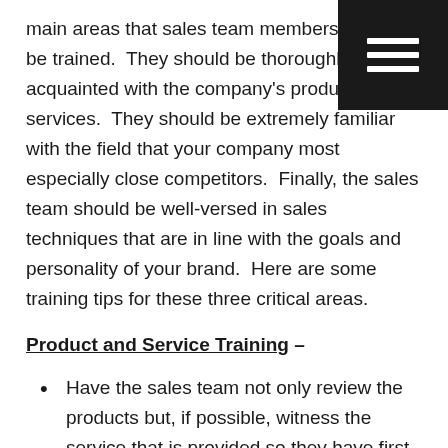main areas that sales team members should be trained.  They should be thoroughly acquainted with the company's products and services.  They should be extremely familiar with the field that your company most especially close competitors.  Finally, the sales team should be well-versed in sales techniques that are in line with the goals and personality of your brand.  Here are some training tips for these three critical areas.
Product and Service Training –
Have the sales team not only review the products but, if possible, witness the service that is provided so they have first hand knowledge and can speak from experience rather than a guidebook.